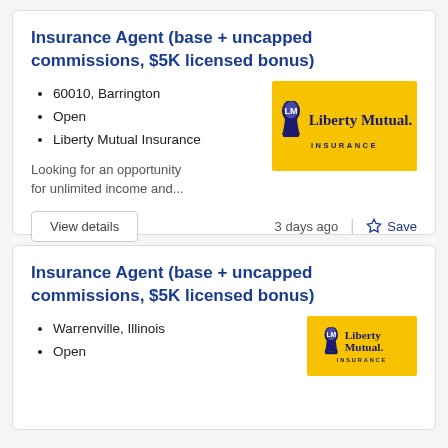Insurance Agent (base + uncapped commissions, $5K licensed bonus)
60010, Barrington
Open
Liberty Mutual Insurance
Looking for an opportunity for unlimited income and...
[Figure (logo): Liberty Mutual Insurance logo on yellow background]
View details
3 days ago
Save
Insurance Agent (base + uncapped commissions, $5K licensed bonus)
Warrenville, Illinois
Open
[Figure (logo): Liberty Mutual Insurance logo on yellow background (partially visible)]